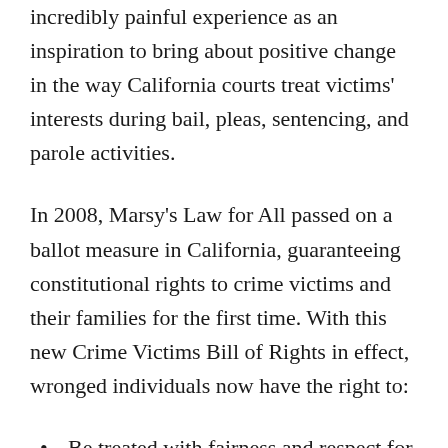incredibly painful experience as an inspiration to bring about positive change in the way California courts treat victims' interests during bail, pleas, sentencing, and parole activities.
In 2008, Marsy's Law for All passed on a ballot measure in California, guaranteeing constitutional rights to crime victims and their families for the first time. With this new Crime Victims Bill of Rights in effect, wronged individuals now have the right to:
Be treated with fairness and respect for their privacy and dignity
Receive reasonable notice of all public